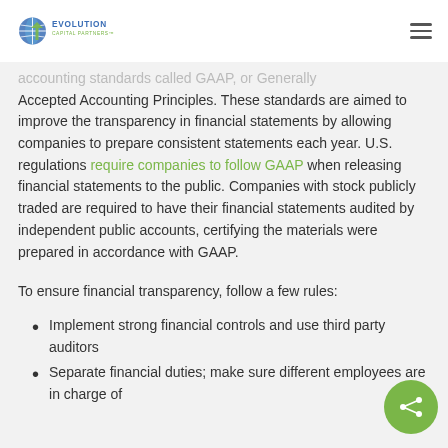Evolution Capital Partners
accounting standards called GAAP, or Generally Accepted Accounting Principles. These standards are aimed to improve the transparency in financial statements by allowing companies to prepare consistent statements each year. U.S. regulations require companies to follow GAAP when releasing financial statements to the public. Companies with stock publicly traded are required to have their financial statements audited by independent public accounts, certifying the materials were prepared in accordance with GAAP.
To ensure financial transparency, follow a few rules:
Implement strong financial controls and use third party auditors
Separate financial duties; make sure different employees are in charge of